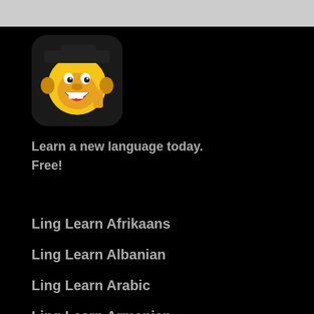[Figure (logo): Ling app icon — cartoon monkey with graduation cap, smiling with thumbs up, yellow and brown colors on rounded square background]
Learn a new language today.
Free!
Ling Learn Afrikaans
Ling Learn Albanian
Ling Learn Arabic
Ling Learn Armenian